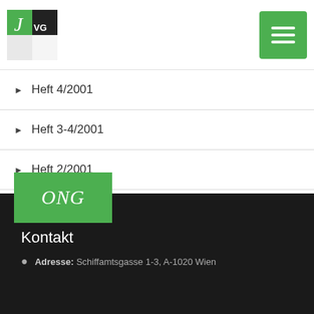OVG logo and menu button
Heft 4/2001
Heft 3-4/2001
Heft 2/2001
Heft 1/2001
ONG | Kontakt | Adresse: Schiffamtsgasse 1-3, A-1020 Wien